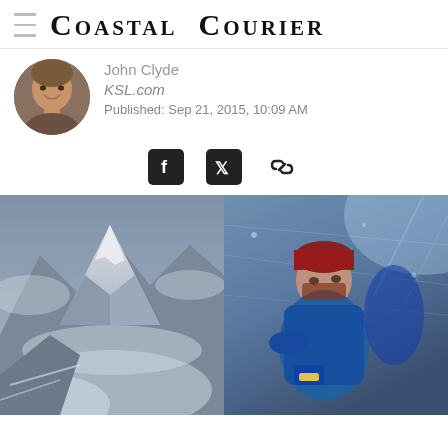Coastal Courier
John Clyde
KSL.com
Published: Sep 21, 2015, 10:09 AM
[Figure (photo): Two movie stills side by side: left shows snowy mountain peaks in a blizzard, right shows a climber in winter gear sheltering in harsh conditions]
[Figure (photo): Circular author headshot of John Clyde, a man smiling]